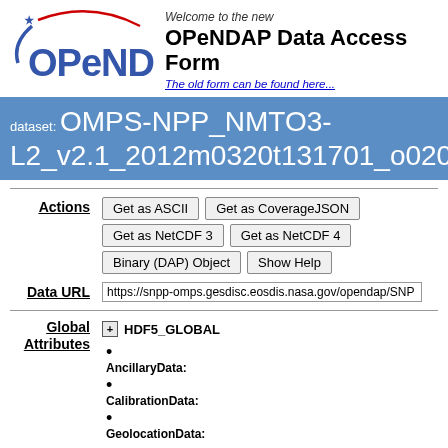[Figure (logo): OPeNDAP logo with blue star and red arc above stylized text]
Welcome to the new
OPeNDAP Data Access Form
The old form can be found here...
dataset: OMPS-NPP_NMTO3-L2_v2.1_2012m0320t131701_o02046_2017m0...
Actions
Get as ASCII | Get as CoverageJSON | Get as NetCDF 3 | Get as NetCDF 4 | Binary (DAP) Object | Show Help
Data URL
https://snpp-omps.gesdisc.eosdis.nasa.gov/opendap/SNP
Global Attributes
+ HDF5_GLOBAL
AncillaryData:
CalibrationData:
GeolocationData:
ScienceData: